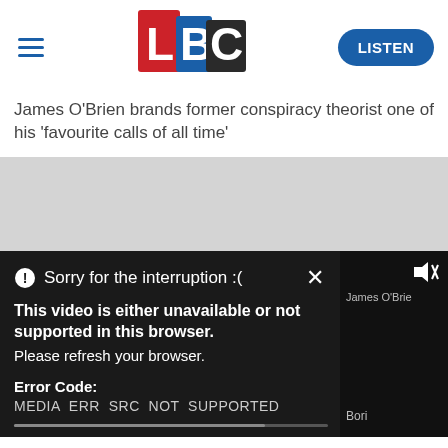[Figure (logo): LBC radio logo with L in red, B in blue, C in dark/black tiles]
James O'Brien brands former conspiracy theorist one of his 'favourite calls of all time'
[Figure (screenshot): Video error overlay on a grey media area. Error message: Sorry for the interruption :( with X close button. This video is either unavailable or not supported in this browser. Please refresh your browser. Error Code: MEDIA ERR SRC NOT SUPPORTED. Partially visible text on right: James O'Brie... and Bori...]